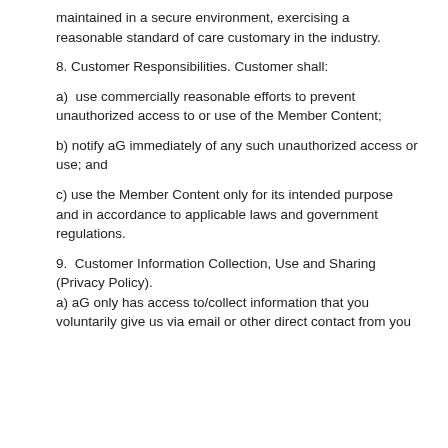maintained in a secure environment, exercising a reasonable standard of care customary in the industry.
8. Customer Responsibilities. Customer shall:
a)  use commercially reasonable efforts to prevent unauthorized access to or use of the Member Content;
b) notify aG immediately of any such unauthorized access or use; and
c) use the Member Content only for its intended purpose and in accordance to applicable laws and government regulations.
9.  Customer Information Collection, Use and Sharing (Privacy Policy).
a) aG only has access to/collect information that you voluntarily give us via email or other direct contact from you